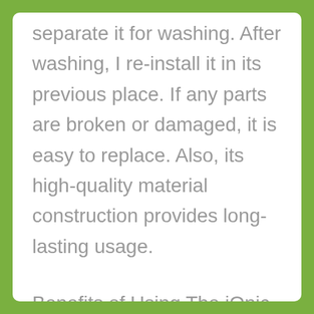separate it for washing. After washing, I re-install it in its previous place. If any parts are broken or damaged, it is easy to replace. Also, its high-quality material construction provides long-lasting usage.
Benefits of Using The iOnic Spa Shower